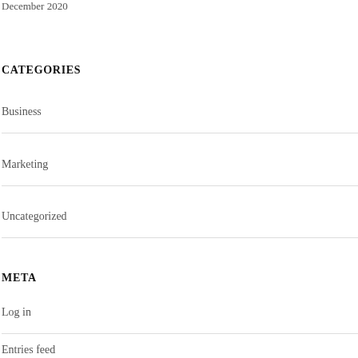December 2020
CATEGORIES
Business
Marketing
Uncategorized
META
Log in
Entries feed